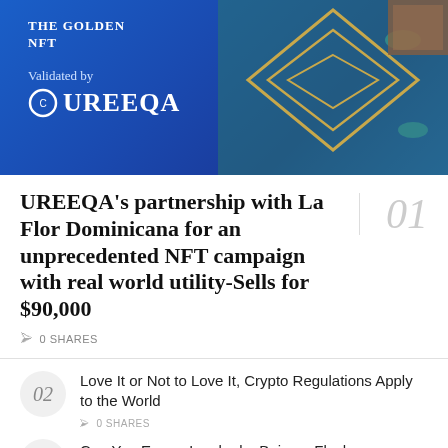[Figure (illustration): Banner image with blue gradient background showing 'The Golden NFT' text, 'Validated by UREEQA' branding with logo, and decorative diamond geometric shapes in gold on the right side with fish/ocean imagery.]
UREEQA's partnership with La Flor Dominicana for an unprecedented NFT campaign with real world utility-Sells for $90,000
0 SHARES
Love It or Not to Love It, Crypto Regulations Apply to the World
0 SHARES
Can You Earn a Lambo by Being a Flash Arbitrageur on